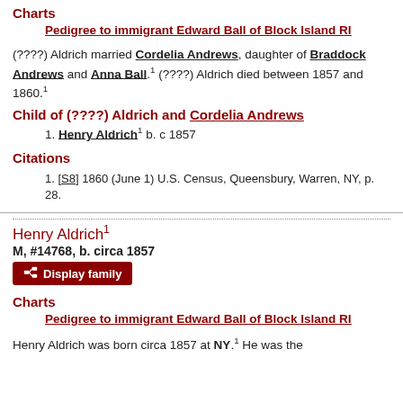Charts
Pedigree to immigrant Edward Ball of Block Island RI
(????) Aldrich married Cordelia Andrews, daughter of Braddock Andrews and Anna Ball.1 (????) Aldrich died between 1857 and 1860.1
Child of (????) Aldrich and Cordelia Andrews
1. Henry Aldrich1 b. c 1857
Citations
1. [S8] 1860 (June 1) U.S. Census, Queensbury, Warren, NY, p. 28.
Henry Aldrich1
M, #14768, b. circa 1857
Charts
Pedigree to immigrant Edward Ball of Block Island RI
Henry Aldrich was born circa 1857 at NY.1 He was the